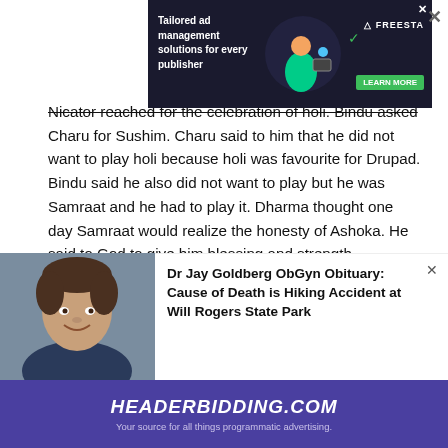[Figure (other): Advertisement banner: Tailored ad management solutions for every publisher. Freesta brand with Learn More button and illustrated graphic on dark background.]
Nicator reached for the celebration of holi. Bindu asked Charu for Sushim. Charu said to him that he did not want to play holi because holi was favourite for Drupad. Bindu said he also did not want to play but he was Samraat and he had to play it. Dharma thought one day Samraat would realize the honesty of Ashoka. He said to God to give him blessing and strength.
Takshak and Ashoka started the fight. He holds Ashoka's neck. Ashoka pulled his hand and fall down him. Ashoka attacked him by stones. Takshak fall unconsciously. Ashoka
[Figure (photo): Photo of a smiling man with dark hair, appears to be a doctor.]
Dr Jay Goldberg ObGyn Obituary: Cause of Death is Hiking Accident at Will Rogers State Park
[Figure (other): Headerbidding.com advertisement bar: Your source for all things programmatic advertising.]